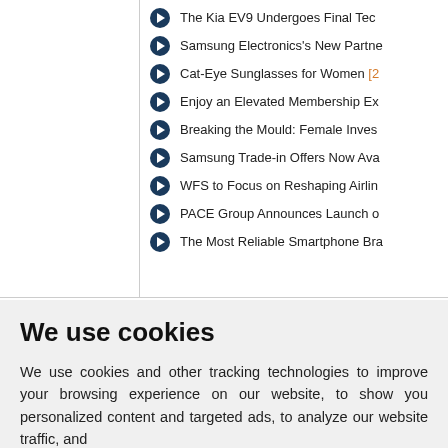The Kia EV9 Undergoes Final Tec…
Samsung Electronics's New Partn…
Cat-Eye Sunglasses for Women [2…]
Enjoy an Elevated Membership Ex…
Breaking the Mould: Female Inves…
Samsung Trade-in Offers Now Ava…
WFS to Focus on Reshaping Airlin…
PACE Group Announces Launch o…
The Most Reliable Smartphone Bra…
We use cookies
We use cookies and other tracking technologies to improve your browsing experience on our website, to show you personalized content and targeted ads, to analyze our website traffic, and